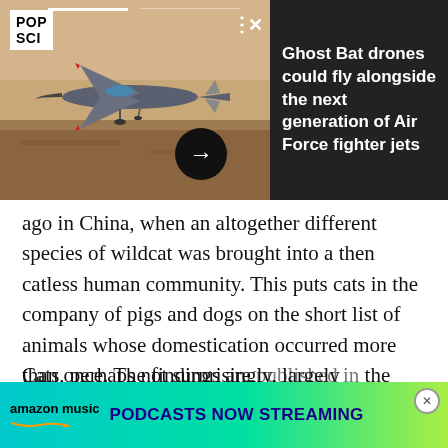[Figure (photo): Pop Science article notification banner showing a Ghost Bat drone flying over desert landscape, with headline 'Ghost Bat drones could fly alongside the next generation of Air Force fighter jets' on dark background. Includes POP SCI logo, three-dot menu, X close button, and right-arrow navigation button.]
ago in China, when an altogether different species of wildcat was brought into a then catless human community. This puts cats in the company of pigs and dogs on the short list of animals whose domestication occurred more than once. The findings are published in the science journal PLOS One.
Cats, perhaps not surprisingly, largely domesticated themselves and in the Neolithic age...
[Figure (other): Amazon Music advertisement banner: 'amazon music PODCASTS NOW STREAMING' with gradient teal-to-green background and a close button.]